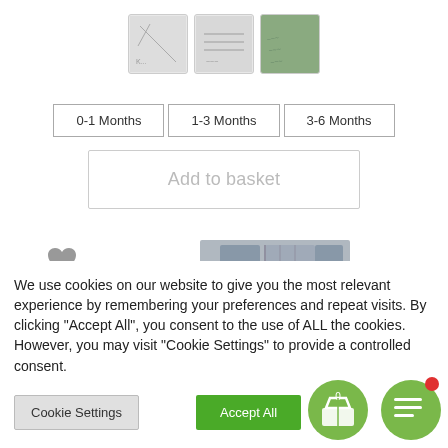[Figure (screenshot): Three small product thumbnail images in a row, showing baby clothing items in light gray/green patterns]
[Figure (screenshot): Three size selector buttons: 0-1 Months, 1-3 Months, 3-6 Months]
[Figure (screenshot): Add to basket button - outlined rectangle with light gray text]
[Figure (screenshot): Heart/favourite icon and partial product image (gray baby garment) at bottom of product section]
We use cookies on our website to give you the most relevant experience by remembering your preferences and repeat visits. By clicking "Accept All", you consent to the use of ALL the cookies. However, you may visit "Cookie Settings" to provide a controlled consent.
[Figure (screenshot): Cookie Settings button (gray) and Accept All button (green), plus basket icon with 0 count and green chat bubble icon with red notification dot]